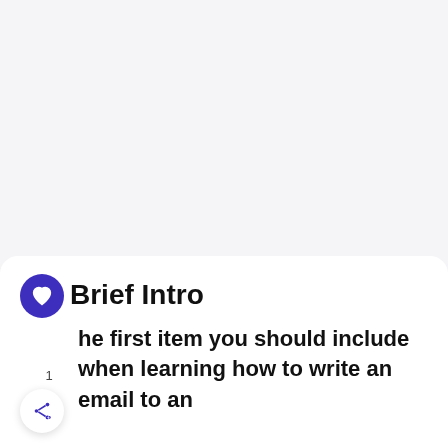Brief Intro
he first item you should include when learning how to write an email to an